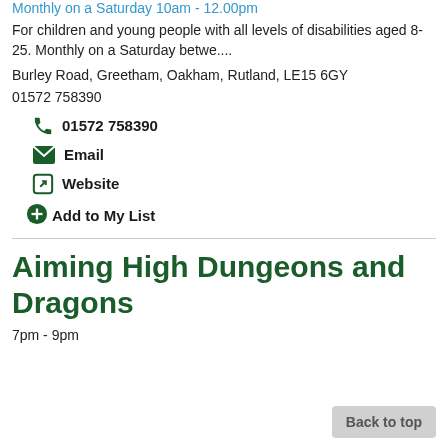Monthly on a Saturday 10am - 12.00pm
For children and young people with all levels of disabilities aged 8-25. Monthly on a Saturday betwe....
Burley Road, Greetham, Oakham, Rutland, LE15 6GY
01572 758390
📞 01572 758390
✉ Email
🔗 Website
⊕ Add to My List
Aiming High Dungeons and Dragons
7pm - 9pm